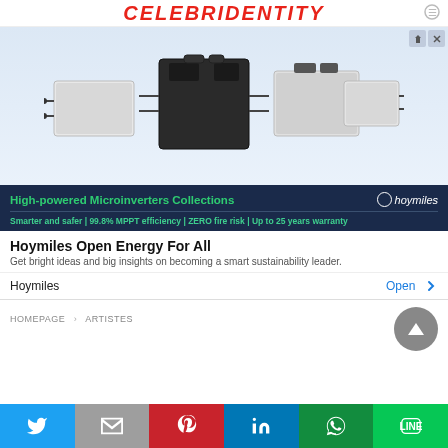CELEBRIDENTITY
[Figure (photo): Advertisement banner showing Hoymiles microinverter products (white and black electronic devices) on a light blue background, with green text 'High-powered Microinverters Collections', Hoymiles logo, and subtitle 'Smarter and safer | 99.8% MPPT efficiency | ZERO fire risk | Up to 25 years warranty']
Hoymiles Open Energy For All
Get bright ideas and big insights on becoming a smart sustainability leader.
Hoymiles   Open >
HOMEPAGE > ARTISTES